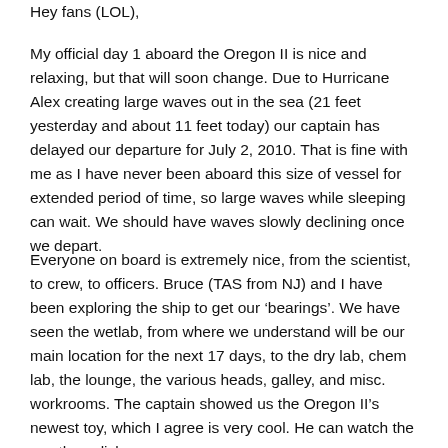Hey fans (LOL),
My official day 1 aboard the Oregon II is nice and relaxing, but that will soon change. Due to Hurricane Alex creating large waves out in the sea (21 feet yesterday and about 11 feet today) our captain has delayed our departure for July 2, 2010. That is fine with me as I have never been aboard this size of vessel for extended period of time, so large waves while sleeping can wait. We should have waves slowly declining once we depart.
Everyone on board is extremely nice, from the scientist, to crew, to officers. Bruce (TAS from NJ) and I have been exploring the ship to get our ‘bearings’. We have seen the wetlab, from where we understand will be our main location for the next 17 days, to the dry lab, chem lab, the lounge, the various heads, galley, and misc. workrooms. The captain showed us the Oregon II’s newest toy, which I agree is very cool. He can watch the weather, click on